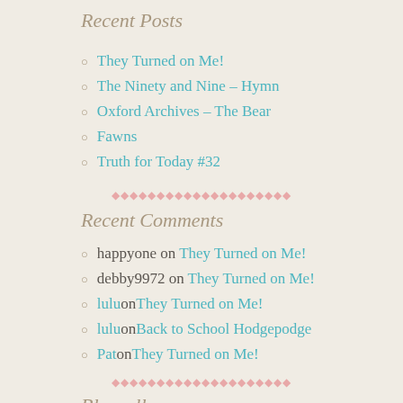Recent Posts
They Turned on Me!
The Ninety and Nine – Hymn
Oxford Archives – The Bear
Fawns
Truth for Today #32
◆◆◆◆◆◆◆◆◆◆◆◆◆◆◆◆◆◆◆◆◆
Recent Comments
happyone on They Turned on Me!
debby9972 on They Turned on Me!
lulu on They Turned on Me!
lulu on Back to School Hodgepodge
Pat on They Turned on Me!
◆◆◆◆◆◆◆◆◆◆◆◆◆◆◆◆◆◆◆◆◆
Blogroll